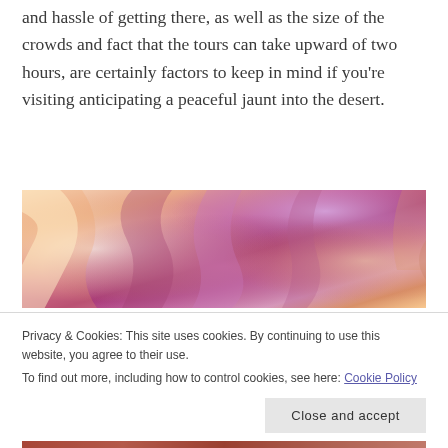and hassle of getting there, as well as the size of the crowds and fact that the tours can take upward of two hours, are certainly factors to keep in mind if you're visiting anticipating a peaceful jaunt into the desert.
[Figure (photo): Colorful sandstone canyon walls with flowing curved rock formations in shades of orange, purple, pink, and white — likely Antelope Canyon or similar slot canyon.]
Privacy & Cookies: This site uses cookies. By continuing to use this website, you agree to their use.
To find out more, including how to control cookies, see here: Cookie Policy
[Figure (photo): Partial view of another canyon or desert landscape photo visible at the bottom of the page.]